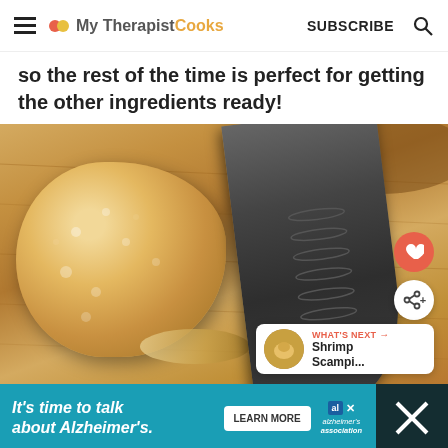My Therapist Cooks | SUBSCRIBE
so the rest of the time is perfect for getting the other ingredients ready!
[Figure (photo): Close-up photo of a piece of ginger root on a wooden cutting board with a large knife blade visible in the background]
WHAT'S NEXT → Shrimp Scampi...
[Figure (other): Advertisement banner: It's time to talk about Alzheimer's. LEARN MORE. alzheimer's association logo.]